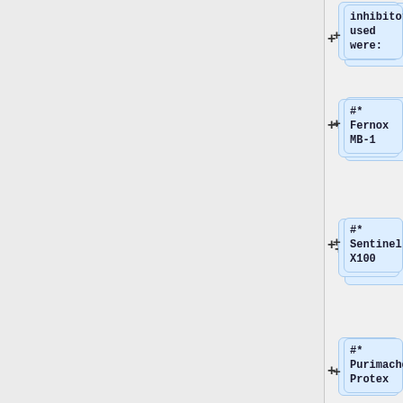inhibitors used were:
#* Fernox MB-1
#* Sentinel X100
#* Purimachos Protex
#* none (control)
# The bottles were then placed together in a warm place (the back of an airing